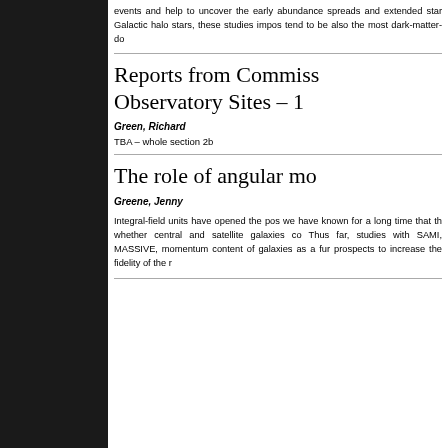events and help to uncover the early abundance spreads and extended star Galactic halo stars, these studies impos tend to be also the most dark-matter-do
Reports from Commiss Observatory Sites – 1
Green, Richard
TBA – whole section 2b
The role of angular mo
Greene, Jenny
Integral-field units have opened the pos we have known for a long time that th whether central and satellite galaxies co Thus far, studies with SAMI, MASSIVE, momentum content of galaxies as a fur prospects to increase the fidelity of the r